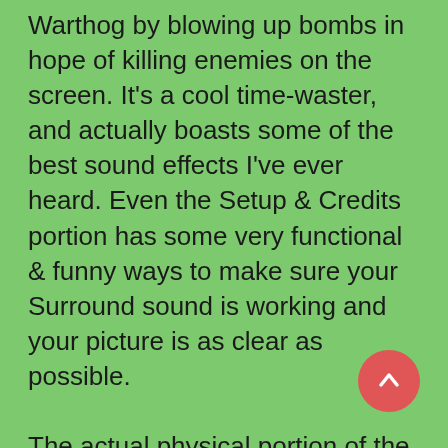Warthog by blowing up bombs in hope of killing enemies on the screen. It's a cool time-waster, and actually boasts some of the best sound effects I've ever heard. Even the Setup & Credits portion has some very functional & funny ways to make sure your Surround sound is working and your picture is as clear as possible.

The actual physical portion of the package, besides including the tin, the game disc and the essentials disc contain more goodies. There's a manual and a poster which explains all of